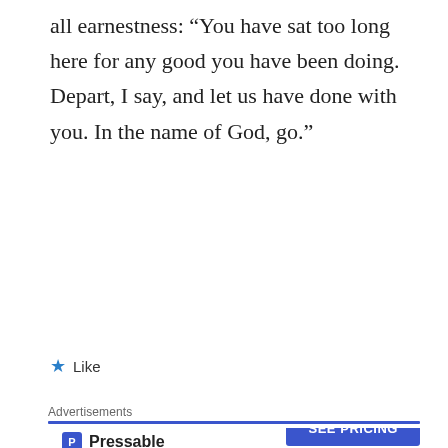all earnestness: “You have sat too long here for any good you have been doing. Depart, I say, and let us have done with you. In the name of God, go.”
★ Like
Advertisements
[Figure (screenshot): Pressable advertisement: logo with blue P icon and 'Pressable' text, dotted line, then bold text 'The Platform Where WordPress Works Best' with 'WordPress' and 'Best' in blue, and a blue 'SEE PRICING' button at bottom right.]